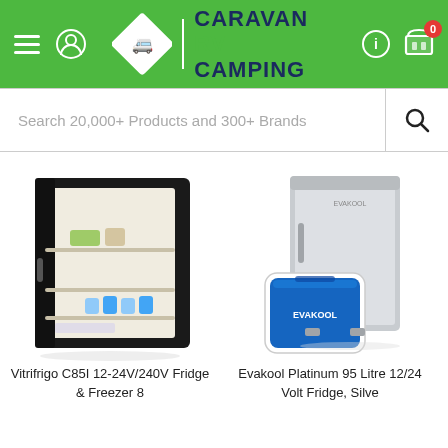[Figure (logo): Caravan RV Camping website header with green background, hamburger menu, user icon, diamond-shaped logo with truck, brand name CARAVAN RV CAMPING, info icon, and cart icon with badge showing 0]
[Figure (screenshot): Search bar with placeholder text: Search 20,000+ Products and 300+ Brands, and a magnifying glass search button on the right]
[Figure (photo): Vitrifrigo C85I 12-24V/240V fridge freezer with door open showing interior shelves and contents]
Vitrifrigo C85I 12-24V/240V Fridge & Freezer 8
[Figure (photo): Evakool Platinum 95 Litre silver fridge with a blue Evakool cooler box in front]
Evakool Platinum 95 Litre 12/24 Volt Fridge, Silve